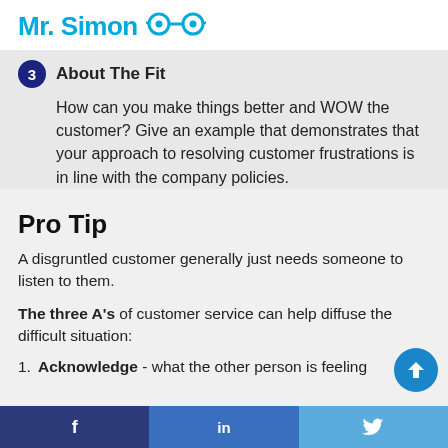Mr. Simon
3 About The Fit
How can you make things better and WOW the customer? Give an example that demonstrates that your approach to resolving customer frustrations is in line with the company policies.
Pro Tip
A disgruntled customer generally just needs someone to listen to them.
The three A's of customer service can help diffuse the difficult situation:
Acknowledge - what the other person is feeling
f    in    🐦